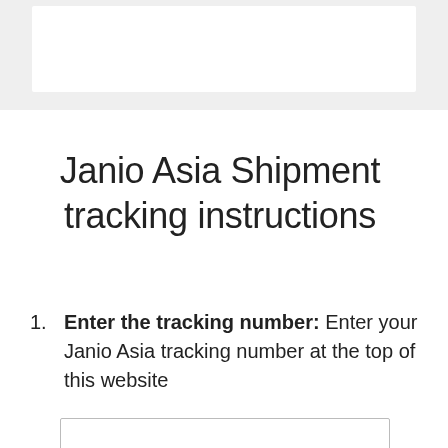[Figure (screenshot): Top gray bar area with a white rectangular box inside, resembling a website header/search bar area]
Janio Asia Shipment tracking instructions
Enter the tracking number: Enter your Janio Asia tracking number at the top of this website
[Figure (screenshot): Partial screenshot of a website tracking input box at the bottom of the page]